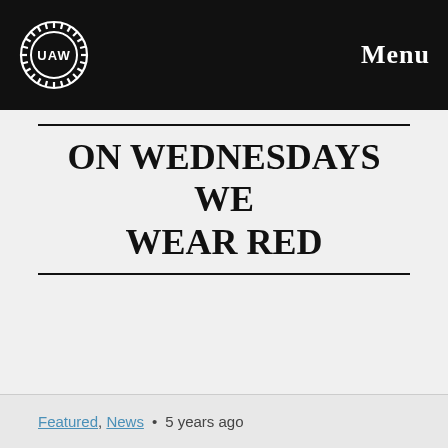UAW Menu
ON WEDNESDAYS WE WEAR RED
[Figure (photo): Placeholder image area below title]
Featured, News • 5 years ago